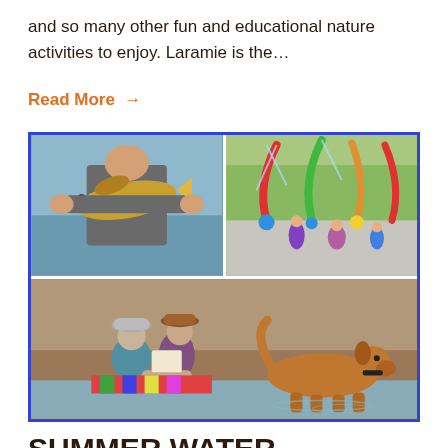and so many other fun and educational nature activities to enjoy. Laramie is the…
Read More →
[Figure (photo): Collage of four outdoor activity photos: top-left child holding a large fish near a lake; top-right children playing at a splash pad with colorful poles; bottom spanning both columns showing two children sitting by a river and a dog wading in water.]
SUMMER WATER ACTIVITIES ITINERARY FOR FAMILIES